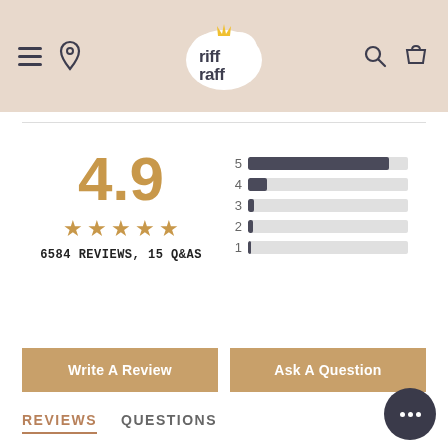Riff Raff - navigation header with logo, hamburger menu, location pin, search and cart icons
[Figure (bar-chart): Rating distribution]
4.9
★★★★★
6584 REVIEWS, 15 Q&AS
Write A Review
Ask A Question
REVIEWS
QUESTIONS